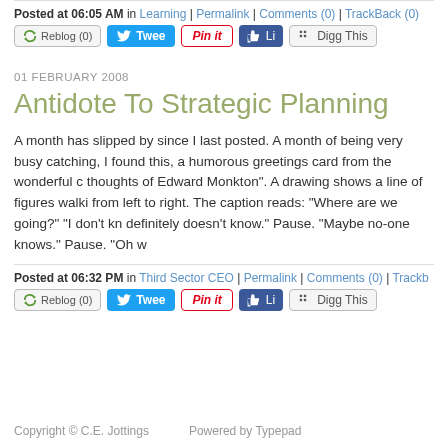Posted at 06:05 AM in Learning | Permalink | Comments (0) | TrackBack (0)
01 FEBRUARY 2008
Antidote To Strategic Planning
A month has slipped by since I last posted. A month of being very busy catching, I found this, a humorous greetings card from the wonderful thoughts of Edward Monkton". A drawing shows a line of figures walki from left to right. The caption reads: "Where are we going?" "I don't kn definitely doesn't know." Pause. "Maybe no-one knows." Pause. "Oh w
Posted at 06:32 PM in Third Sector CEO | Permalink | Comments (0) | Trackb
Copyright © C.E. Jottings     Powered by Typepad